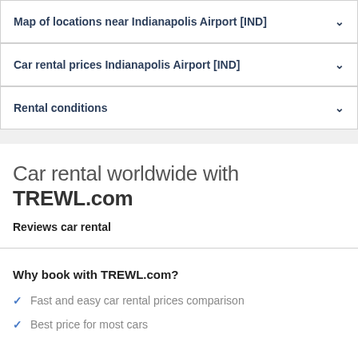Map of locations near Indianapolis Airport [IND]
Car rental prices Indianapolis Airport [IND]
Rental conditions
Car rental worldwide with TREWL.com
Reviews car rental
Why book with TREWL.com?
Fast and easy car rental prices comparison
Best price for most cars